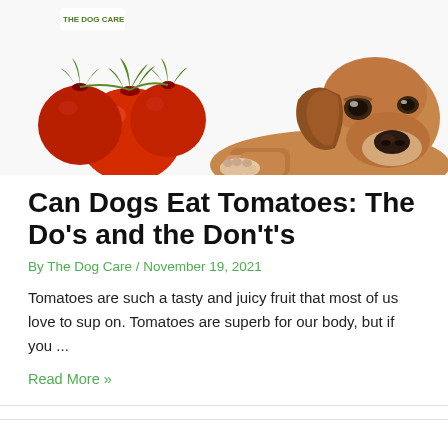[Figure (photo): Photo of a brown dog lying down with its chin on the ground, next to red tomatoes on a white background. Small logo 'The Dog Care' in top left corner.]
Can Dogs Eat Tomatoes: The Do's and the Don't's
By The Dog Care / November 19, 2021
Tomatoes are such a tasty and juicy fruit that most of us love to sup on. Tomatoes are superb for our body, but if you ...
Read More »